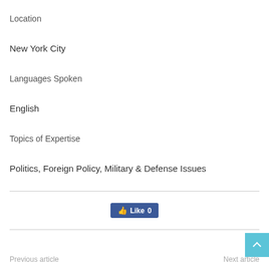Location
New York City
Languages Spoken
English
Topics of Expertise
Politics, Foreign Policy, Military & Defense Issues
[Figure (other): Facebook Like button showing 0 likes]
[Figure (other): Scroll-to-top button (light blue with upward arrow)]
Previous article    Next article